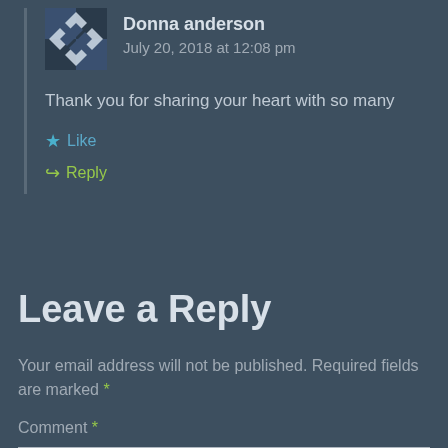Donna anderson
July 20, 2018 at 12:08 pm
Thank you for sharing your heart with so many
Like
Reply
Leave a Reply
Your email address will not be published. Required fields are marked *
Comment *